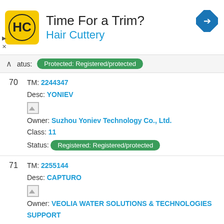[Figure (advertisement): Hair Cuttery advertisement banner with logo, headline 'Time For a Trim?' and navigation icon]
Status: Protected: Registered/protected
70 TM: 2244347 Desc: YONIEV Owner: Suzhou Yoniev Technology Co., Ltd. Class: 11 Status: Registered: Registered/protected
71 TM: 2255144 Desc: CAPTURO Owner: VEOLIA WATER SOLUTIONS & TECHNOLOGIES SUPPORT Class: 11, 40, 42 Status: Protected: Registered/protected
72 TM: 2256512 Desc: ITALKERO Owner: ITALKERO S.r.l.